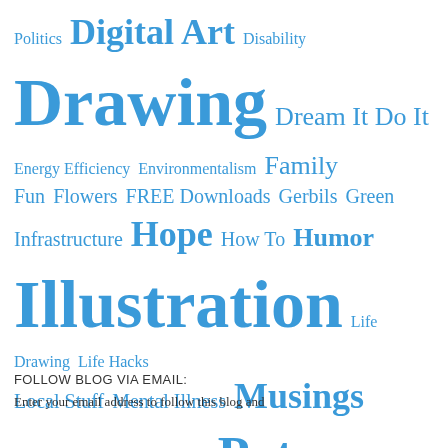[Figure (infographic): Tag cloud / word cloud featuring blog category tags in various sizes and shades of blue. Tags include: Politics, Digital Art, Disability, Drawing, Dream It Do It, Energy Efficiency, Environmentalism, Family, Fun, Flowers, FREE Downloads, Gerbils, Green Infrastructure, Hope, How To, Humor, Illustration, Life Drawing, Life Hacks, Local Stuff, Mental Illness, Musings, Nonprofit Organizations, Patreon, Phone Art, Pika's Peak, Portraits, Professional Relationships, Social Media, Sorting Things Out, Speed Sketching, Sustainability, Taxes, Technology, The Turn of the Seasons, Traditional Media, Webcomics]
FOLLOW BLOG VIA EMAIL:
Enter your email address to follow this blog and...